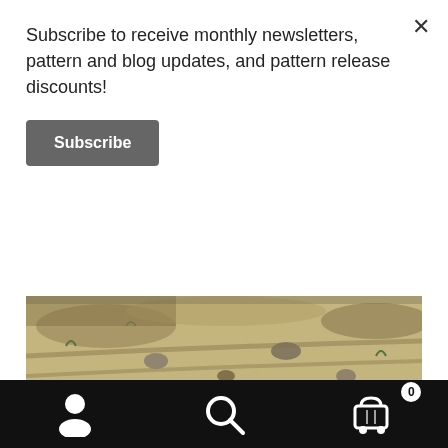Subscribe to receive monthly newsletters, pattern and blog updates, and pattern release discounts!
Subscribe
[Figure (photo): A dirt path or dry, sandy ground with ruts or tracks, pebbles and sparse vegetation visible from above, brownish-tan earthy tones.]
My first project is a water bottle carrier. While taking a walk one evening, my partner mentioned that he had seen a water bottle carrier at the co-op made from parachute
person icon | search icon | cart icon with 0